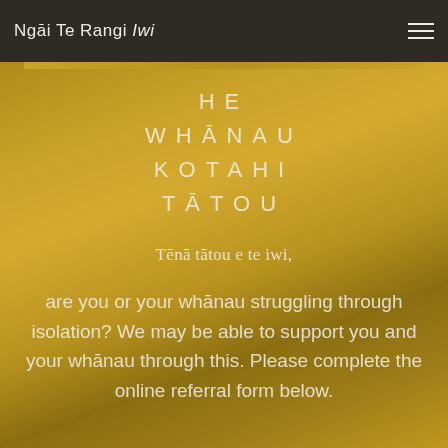Ngāi Te Rangi Iwi
HE WHĀNAU KOTAHI TĀTOU
Tēnā tātou e te iwi,
are you or your whānau struggling through isolation? We may be able to support you and your whānau through this. Please complete the online referral form below.